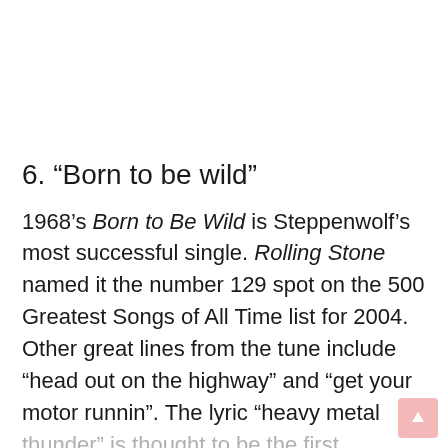6. “Born to be wild”
1968’s Born to Be Wild is Steppenwolf’s most successful single. Rolling Stone named it the number 129 spot on the 500 Greatest Songs of All Time list for 2004. Other great lines from the tune include “head out on the highway” and “get your motor runnin”. The lyric “heavy metal thunder” is thought to be the first reference heavy metal as a term for rock music.